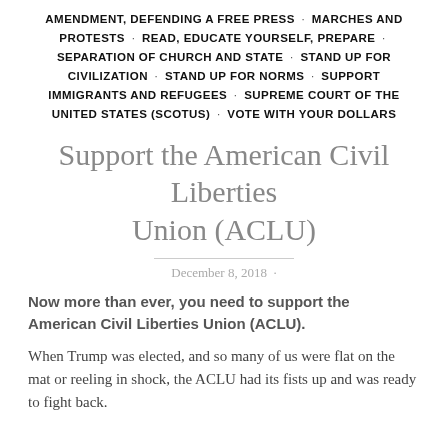AMENDMENT, DEFENDING A FREE PRESS · MARCHES AND PROTESTS · READ, EDUCATE YOURSELF, PREPARE · SEPARATION OF CHURCH AND STATE · STAND UP FOR CIVILIZATION · STAND UP FOR NORMS · SUPPORT IMMIGRANTS AND REFUGEES · SUPREME COURT OF THE UNITED STATES (SCOTUS) · VOTE WITH YOUR DOLLARS
Support the American Civil Liberties Union (ACLU)
December 8, 2018
Now more than ever, you need to support the American Civil Liberties Union (ACLU).
When Trump was elected, and so many of us were flat on the mat or reeling in shock, the ACLU had its fists up and was ready to fight back.